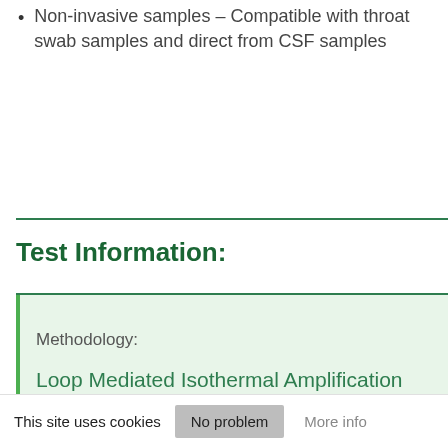Non-invasive samples – Compatible with throat swab samples and direct from CSF samples
Test Information:
| Methodology: |
| --- |
| Loop Mediated Isothermal Amplification (LAMP) |
This site uses cookies   No problem   More info